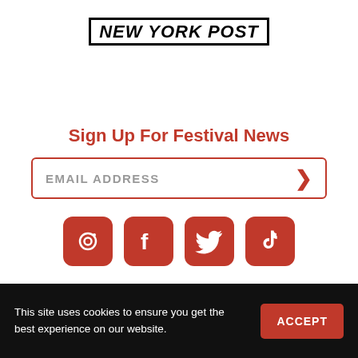NEW YORK POST
Sign Up For Festival News
EMAIL ADDRESS
[Figure (infographic): Four social media icons in orange rounded squares: Instagram, Facebook, Twitter, TikTok]
This site uses cookies to ensure you get the best experience on our website.